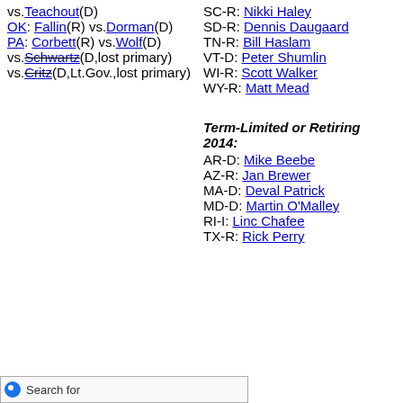vs.Teachout(D) OK: Fallin(R) vs.Dorman(D) PA: Corbett(R) vs.Wolf(D) vs.Schwartz(D,lost primary) vs.Critz(D,Lt.Gov.,lost primary)
SC-R: Nikki Haley SD-R: Dennis Daugaard TN-R: Bill Haslam VT-D: Peter Shumlin WI-R: Scott Walker WY-R: Matt Mead
Term-Limited or Retiring 2014:
AR-D: Mike Beebe AZ-R: Jan Brewer MA-D: Deval Patrick MD-D: Martin O'Malley RI-I: Linc Chafee TX-R: Rick Perry